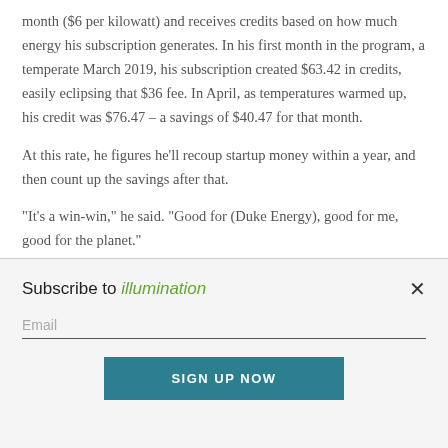month ($6 per kilowatt) and receives credits based on how much energy his subscription generates. In his first month in the program, a temperate March 2019, his subscription created $63.42 in credits, easily eclipsing that $36 fee. In April, as temperatures warmed up, his credit was $76.47 – a savings of $40.47 for that month.
At this rate, he figures he'll recoup startup money within a year, and then count up the savings after that.
“It's a win-win,” he said. “Good for (Duke Energy), good for me, good for the planet.”
Subscribe to illumination
Email
SIGN UP NOW